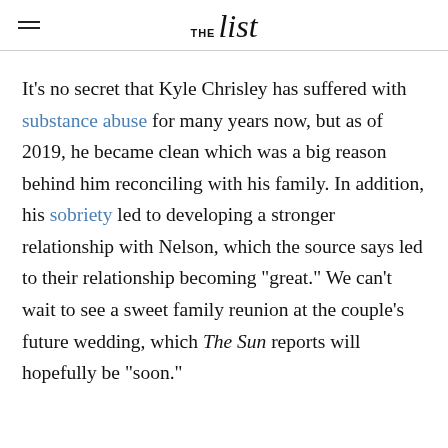THE list
It's no secret that Kyle Chrisley has suffered with substance abuse for many years now, but as of 2019, he became clean which was a big reason behind him reconciling with his family. In addition, his sobriety led to developing a stronger relationship with Nelson, which the source says led to their relationship becoming "great." We can't wait to see a sweet family reunion at the couple's future wedding, which The Sun reports will hopefully be "soon."